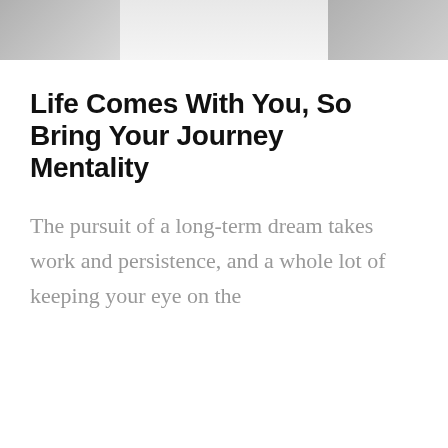[Figure (photo): Decorative photo strip at the top of the page showing blurred/faded images in a horizontal band]
Life Comes With You, So Bring Your Journey Mentality
The pursuit of a long-term dream takes work and persistence, and a whole lot of keeping your eye on the